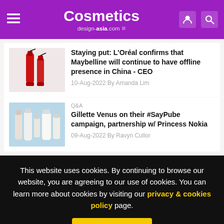Cosmetics design-asia.com
Staying put: L'Oréal confirms that Maybelline will continue to have offline presence in China - CEO
10-Aug-2022 By Amanda Lim
Q&A
Gillette Venus on their #SayPube campaign, partnership w/ Princess Nokia
09-Aug-2022 By Ravyn Cullor
This website uses cookies. By continuing to browse our website, you are agreeing to our use of cookies. You can learn more about cookies by visiting our privacy & cookies policy page.